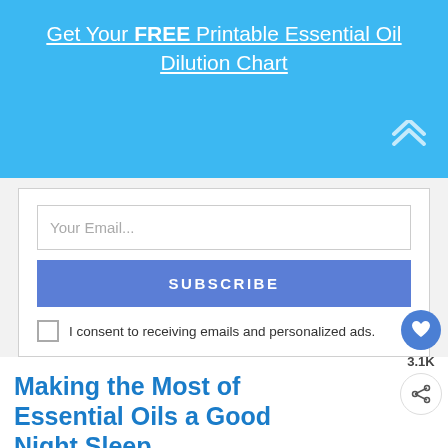Get Your FREE Printable Essential Oil Dilution Chart
Your Email...
SUBSCRIBE
I consent to receiving emails and personalized ads.
Making the Most of Essential Oils a Good Night Sleep
As discussed in the varying essential sections, you can use these oils as
3.1K
WHAT'S NEXT → Essential Oils for Kids